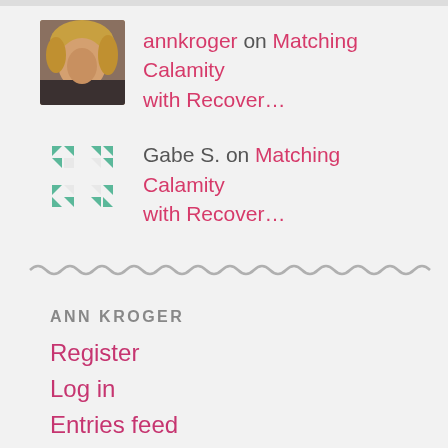[Figure (photo): Profile photo of annkroger - blonde woman smiling]
annkroger on Matching Calamity with Recover...
[Figure (illustration): Default avatar icon - teal/green geometric pattern with arrow-like shapes]
Gabe S. on Matching Calamity with Recover...
[Figure (other): Wavy zigzag decorative divider line in gray]
ANN KROGER
Register
Log in
Entries feed
Comments feed